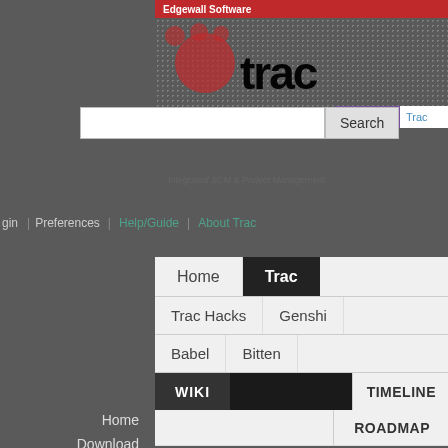Edgewall Software
[Figure (screenshot): Trac project management software website screenshot showing navigation with Home, Trac tabs, sub-tabs for Trac Hacks, Genshi, Babel, Bitten, and wiki navigation including WIKI, TIMELINE, ROADMAP, BROWSE SOURCE, VIEW TICKETS, NEW TICKET, SEARCH. Bottom shows wiki: PySqlite with version navigation links.]
Open Hub   Trac
Search
Integrated SCM & Project Management
Login | Preferences | Help/Guide | About Trac
Home   Trac
Trac Hacks   Genshi
Babel   Bitten
WIKI   TIMELINE
ROADMAP
BROWSE SOURCE
VIEW TICKETS
NEW TICKET
SEARCH
Home
Download
Documentation
Mailing Lists
License
FAQ
wiki: PySqlite  +0
← Previous Version
View Latest Version
Next Version →